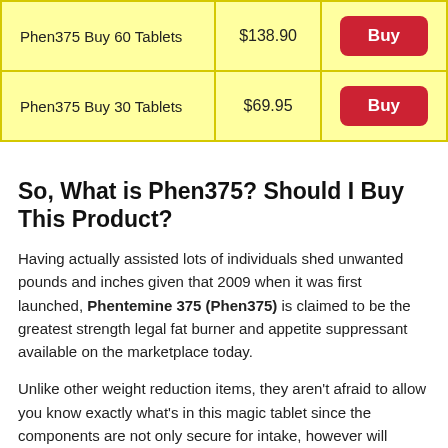| Product | Price | Action |
| --- | --- | --- |
| Phen375 Buy 60 Tablets | $138.90 | Buy |
| Phen375 Buy 30 Tablets | $69.95 | Buy |
So, What is Phen375? Should I Buy This Product?
Having actually assisted lots of individuals shed unwanted pounds and inches given that 2009 when it was first launched, Phentemine 375 (Phen375) is claimed to be the greatest strength legal fat burner and appetite suppressant available on the marketplace today.
Unlike other weight reduction items, they aren't afraid to allow you know exactly what's in this magic tablet since the components are not only secure for intake, however will likewise help you burn fat properly, swiftly and quickly.